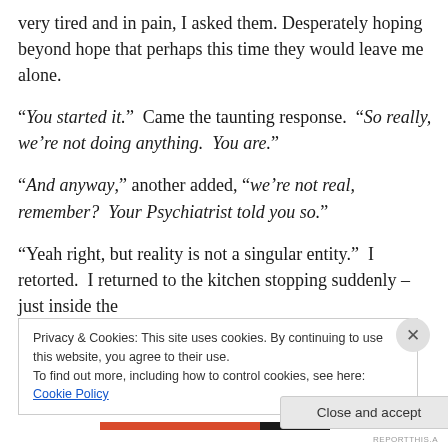very tired and in pain, I asked them. Desperately hoping beyond hope that perhaps this time they would leave me alone.
“You started it.”  Came the taunting response.  “So really, we’re not doing anything.  You are.”
“And anyway,” another added, “we’re not real, remember?  Your Psychiatrist told you so.”
“Yeah right, but reality is not a singular entity.”  I retorted.  I returned to the kitchen stopping suddenly – just inside the
Privacy & Cookies: This site uses cookies. By continuing to use this website, you agree to their use.
To find out more, including how to control cookies, see here: Cookie Policy